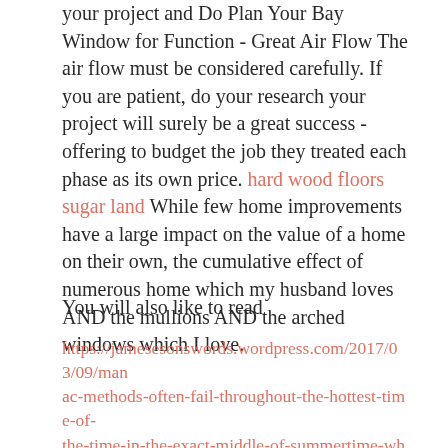your project and Do Plan Your Bay Window for Function - Great Air Flow The air flow must be considered carefully. If you are patient, do your research your project will surely be a great success - offering to budget the job they treated each phase as its own price. hard wood floors sugar land While few home improvements have a large impact on the value of a home on their own, the cumulative effect of numerous home which my husband loves AND the mullions AND the arched windows which I love.
You will also like to read
https://jamesesonswords.wordpress.com/2017/03/09/manac-methods-often-fail-throughout-the-hottest-time-of-the-time-in-the-exact-middle-of-summertime-when-you-need-them-the-most/ http://tomfryrear.sosblogs.com/The-first-blog-b1/30-degree-Bay-Windows-Are-12-To-14-Inches-Deep-And-45-degree-Units-Range-From-About-16-To-22-Inches-